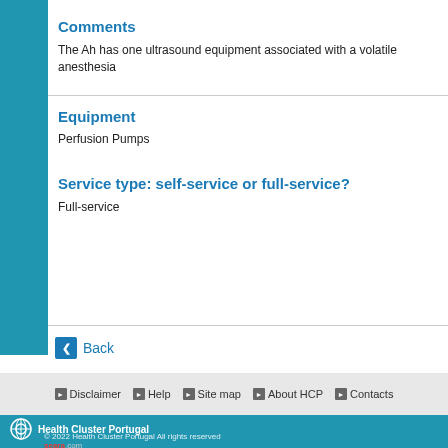Comments
The Ah has one ultrasound equipment associated with a volatile anesthesia
Equipment
Perfusion Pumps
Service type: self-service or full-service?
Full-service
Back
Disclaimer  Help  Site map  About HCP  Contacts
Health Cluster Portugal
© 2022 Health Cluster Portugal All rights reserved
seara.com